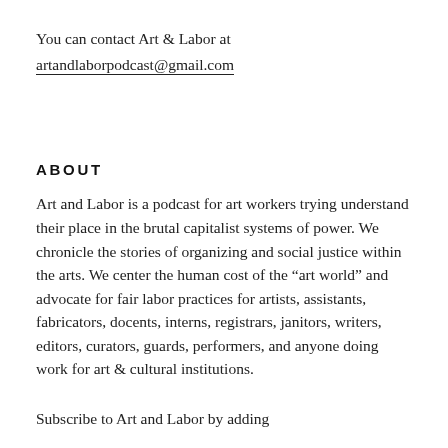You can contact Art & Labor at artandlaborpodcast@gmail.com
ABOUT
Art and Labor is a podcast for art workers trying understand their place in the brutal capitalist systems of power. We chronicle the stories of organizing and social justice within the arts. We center the human cost of the “art world” and advocate for fair labor practices for artists, assistants, fabricators, docents, interns, registrars, janitors, writers, editors, curators, guards, performers, and anyone doing work for art & cultural institutions.
Subscribe to Art and Labor by adding